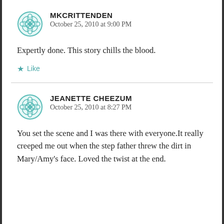MKCRITTENDEN
October 25, 2010 at 9:00 PM
Expertly done. This story chills the blood.
★ Like
JEANETTE CHEEZUM
October 25, 2010 at 8:27 PM
You set the scene and I was there with everyone.It really creeped me out when the step father threw the dirt in Mary/Amy's face. Loved the twist at the end.